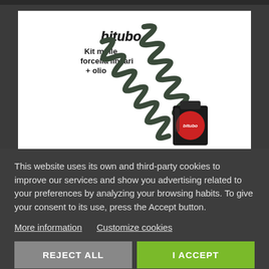[Figure (photo): Product image showing Bitubo kit molle forcella lineari + olio (fork spring kit with oil). Shows two coil springs crossing diagonally and a bottle of Bitubo fork oil.]
This website uses its own and third-party cookies to improve our services and show you advertising related to your preferences by analyzing your browsing habits. To give your consent to its use, press the Accept button.
More information   Customize cookies
REJECT ALL
I ACCEPT